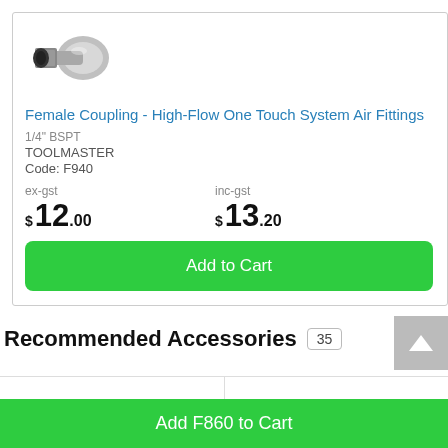[Figure (photo): Female coupling air fitting - metal connector component, silver/chrome colored]
Female Coupling - High-Flow One Touch System Air Fittings
1/4" BSPT
TOOLMASTER
Code: F940
ex-gst  $ 12.00    inc-gst  $ 13.20
Add to Cart
Recommended Accessories 35
Add F860 to Cart